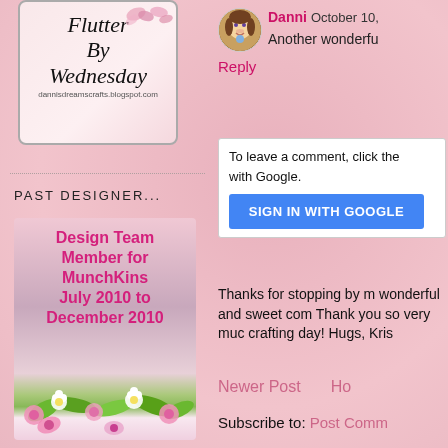[Figure (illustration): Flutter By Wednesday badge with decorative butterflies and cursive text reading 'Flutter By Wednesday' with URL dannisdreamscrafts.blogspot.com]
PAST DESIGNER...
[Figure (illustration): Design Team Member for MunchKins July 2010 to December 2010 badge with floral imagery]
[Figure (illustration): Cartoon avatar of Danni]
Danni October 10,
Another wonderfu
Reply
To leave a comment, click the with Google.
SIGN IN WITH GOOGLE
Thanks for stopping by m wonderful and sweet com Thank you so very muc crafting day! Hugs, Kris
Newer Post
Ho
Subscribe to: Post Comm